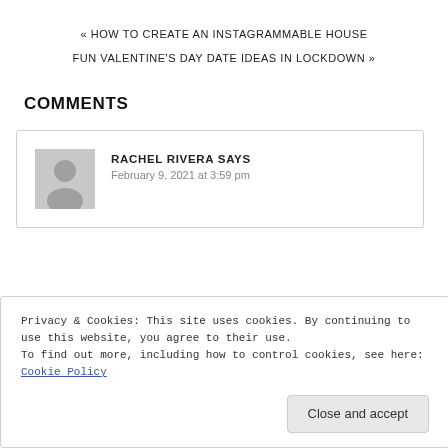« HOW TO CREATE AN INSTAGRAMMABLE HOUSE
FUN VALENTINE'S DAY DATE IDEAS IN LOCKDOWN »
COMMENTS
RACHEL RIVERA SAYS
February 9, 2021 at 3:59 pm
Privacy & Cookies: This site uses cookies. By continuing to use this website, you agree to their use.
To find out more, including how to control cookies, see here: Cookie Policy
Close and accept